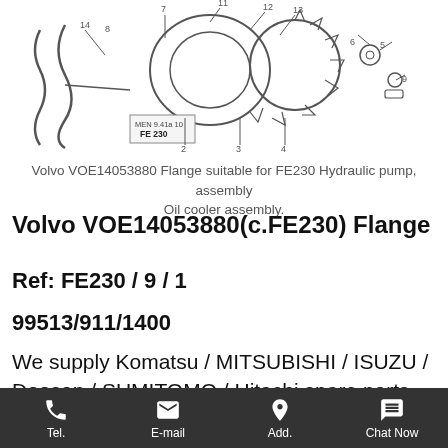[Figure (engineering-diagram): Technical assembly diagram of Volvo VOE14053880 Flange for FE230 Hydraulic pump and Oil cooler assembly, showing numbered parts with callout lines. Includes a small label box with FE 230 text.]
Volvo VOE14053880 Flange suitable for FE230 Hydraulic pump, assembly Oil cooler assembly.
Volvo VOE14053880(c.FE230) Flange
Ref: FE230 / 9 / 1
99513/911/1400
We supply Komatsu / MITSUBISHI / ISUZU / Doosan / SUMITOMO / Hitachi spare parts. MOQ 1 pcs is available! VOLVO Part NO.VOE14053880 is on sale now!
Tel.  E-mail  Add.  Chat Now